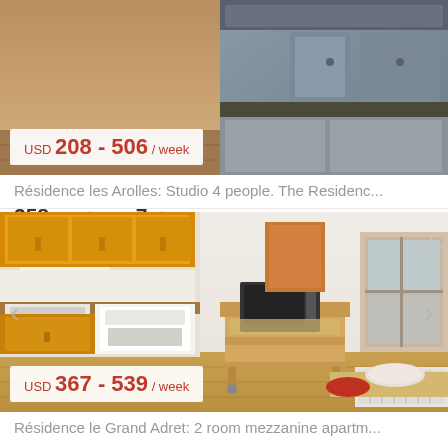[Figure (photo): Interior kitchen photo showing wood floors, modern kitchen cabinetry in grey and brown tones]
USD 208 - 506 / week
Résidence les Arolles: Studio 4 people. The Residenc...
258 sqft  |  floor 7  |  Villard-de-Lans
[Figure (photo): Interior apartment photo showing kitchen with yellow/orange cabinets, white appliances, wooden kitchen cart, window with curtains, radiator]
USD 367 - 539 / week
Résidence le Grand Adret: 2 room mezzanine apartm...